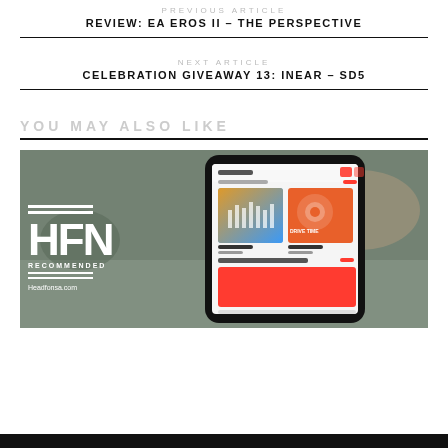PREVIOUS ARTICLE
REVIEW: EA EROS II – THE PERSPECTIVE
NEXT ARTICLE
CELEBRATION GIVEAWAY 13: INEAR – SD5
YOU MAY ALSO LIKE
[Figure (photo): A smartphone displaying a music streaming app (Apple Music) with spatial audio content shown on screen. The phone has a dark case. In the bottom left corner is the HFN RECOMMENDED Headfonsa.com logo overlay in white.]